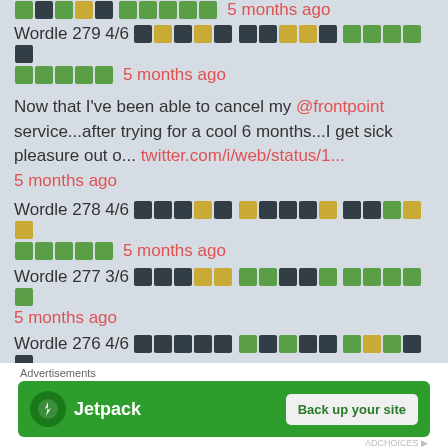Wordle 279 4/6 [squares] 5 months ago
Now that I've been able to cancel my @frontpoint service...after trying for a cool 6 months...I get sick pleasure out o... twitter.com/i/web/status/1... 5 months ago
Wordle 278 4/6 [squares] 5 months ago
Wordle 277 3/6 [squares] 5 months ago
Wordle 276 4/6 [squares] 5 months ago
[Figure (screenshot): Jetpack advertisement banner with Back up your site button]